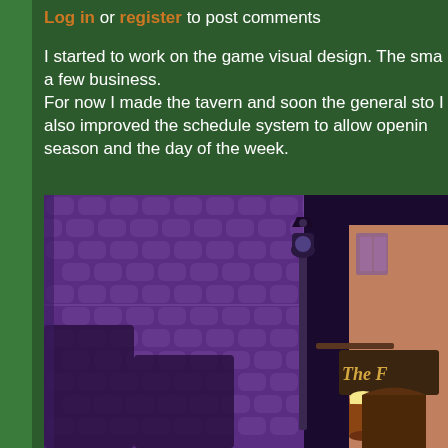Log in or register to post comments
I started to work on the game visual design. The sma a few business.
For now I made the tavern and soon the general sto I also improved the schedule system to allow openin season and the day of the week.
[Figure (screenshot): Pixel art game screenshot showing a purple cobblestone street with a lamp post in the center and a tavern building on the right side labeled 'The F...' (partially visible). The scene has dark purple tones for the street and pinkish-brown for the tavern building.]